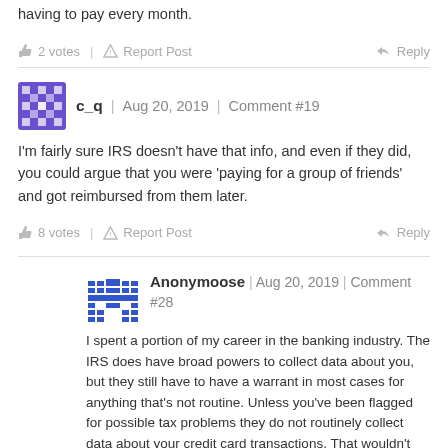having to pay every month.
👍 2 votes | ⚠ Report Post   Reply
c_q | Aug 20, 2019 | Comment #19
I'm fairly sure IRS doesn't have that info, and even if they did, you could argue that you were 'paying for a group of friends' and got reimbursed from them later.
👍 8 votes | ⚠ Report Post   Reply
Anonymoose | Aug 20, 2019 | Comment #28
I spent a portion of my career in the banking industry. The IRS does have broad powers to collect data about you, but they still have to have a warrant in most cases for anything that's not routine. Unless you've been flagged for possible tax problems they do not routinely collect data about your credit card transactions. That wouldn't make sense since the vast majority of taxpayers pay what they're supposed to pay the cost of that kind of database would be higher than the return. There are much more cost effective ways recover